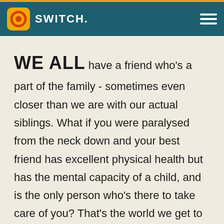SWITCH.
WE ALL have a friend who's a part of the family - sometimes even closer than we are with our actual siblings. What if you were paralysed from the neck down and your best friend has excellent physical health but has the mental capacity of a child, and is the only person who's there to take care of you? That's the world we get to experience in 'Inseparable Bros'.